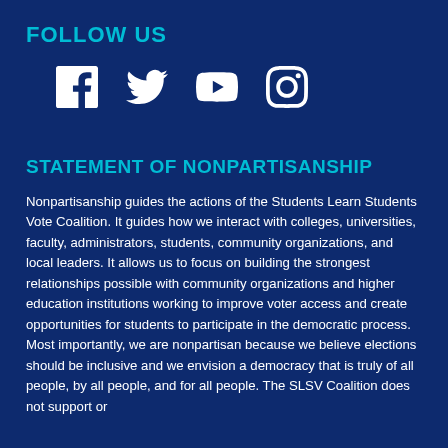FOLLOW US
[Figure (illustration): Social media icons: Facebook, Twitter, YouTube, Instagram in white on dark blue background]
STATEMENT OF NONPARTISANSHIP
Nonpartisanship guides the actions of the Students Learn Students Vote Coalition. It guides how we interact with colleges, universities, faculty, administrators, students, community organizations, and local leaders. It allows us to focus on building the strongest relationships possible with community organizations and higher education institutions working to improve voter access and create opportunities for students to participate in the democratic process. Most importantly, we are nonpartisan because we believe elections should be inclusive and we envision a democracy that is truly of all people, by all people, and for all people. The SLSV Coalition does not support or